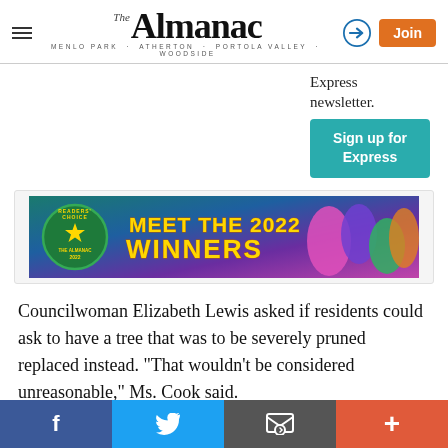The Almanac — MENLO PARK · ATHERTON · PORTOLA VALLEY · WOODSIDE
Express newsletter.
Sign up for Express
[Figure (infographic): Readers Choice award banner reading MEET THE 2022 WINNERS with a gold star badge and illustrated cyclists]
Councilwoman Elizabeth Lewis asked if residents could ask to have a tree that was to be severely pruned replaced instead. "That wouldn't be considered unreasonable," Ms. Cook said.
Facebook | Twitter | Email | More